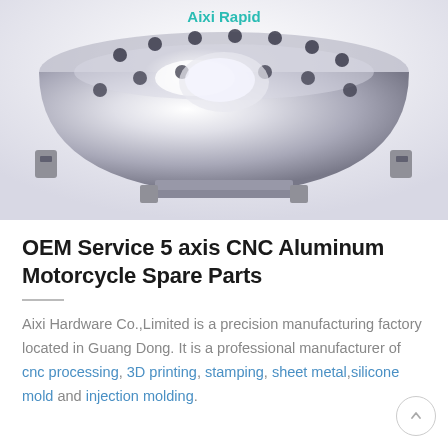[Figure (photo): Photo of a shiny aluminum motorcycle spare part (bowl-shaped perforated metal component) on a light gray/white background. The Aixi Rapid logo in teal text appears in the upper center of the image.]
OEM Service 5 axis CNC Aluminum Motorcycle Spare Parts
Aixi Hardware Co.,Limited is a precision manufacturing factory located in Guang Dong. It is a professional manufacturer of cnc processing, 3D printing, stamping, sheet metal,silicone mold and injection molding.